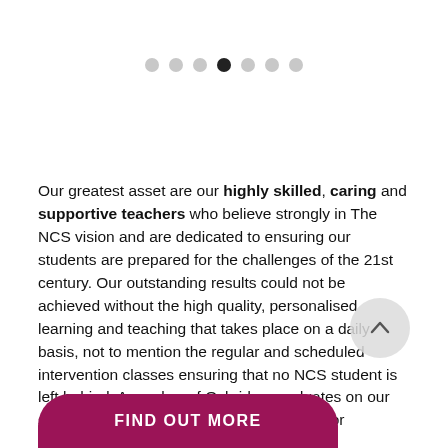[Figure (other): Carousel navigation dots — 7 dots in a row, 4th dot is filled/active (dark), others are light grey]
Our greatest asset are our highly skilled, caring and supportive teachers who believe strongly in The NCS vision and are dedicated to ensuring our students are prepared for the challenges of the 21st century. Our outstanding results could not be achieved without the high quality, personalised learning and teaching that takes place on a daily basis, not to mention the regular and scheduled intervention classes ensuring that no NCS student is left behind. A number of Oxbridge graduates on our staff provide regular preparation sessions for University applications and interviews.
FIND OUT MORE